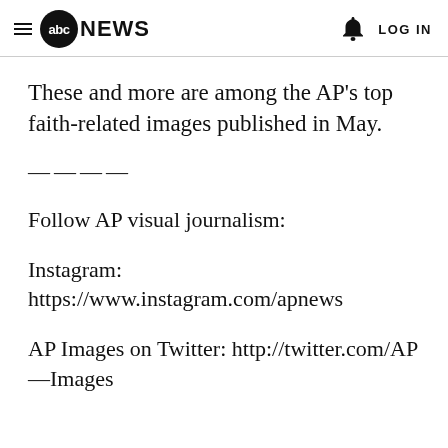abc NEWS  LOG IN
These and more are among the AP’s top faith-related images published in May.
————
Follow AP visual journalism:
Instagram: https://www.instagram.com/apnews
AP Images on Twitter: http://twitter.com/AP—Images